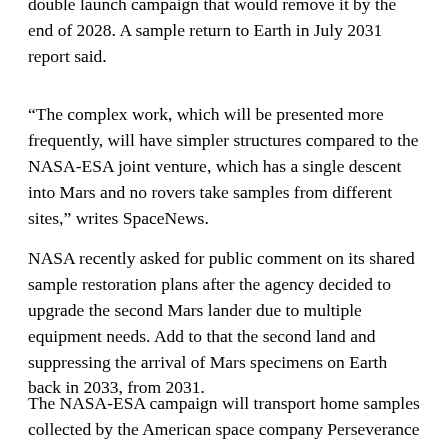double launch campaign that would remove it by the end of 2028. A sample return to Earth in July 2031 report said.
“The complex work, which will be presented more frequently, will have simpler structures compared to the NASA-ESA joint venture, which has a single descent into Mars and no rovers take samples from different sites,” writes SpaceNews.
NASA recently asked for public comment on its shared sample restoration plans after the agency decided to upgrade the second Mars lander due to multiple equipment needs. Add to that the second land and suppressing the arrival of Mars specimens on Earth back in 2033, from 2031.
The NASA-ESA campaign will transport home samples collected by the American space company Perseverance rover, which surveyed the 28-kilometer (45-kilometer), Jezero Crater in February 2021. The project will use a European-built